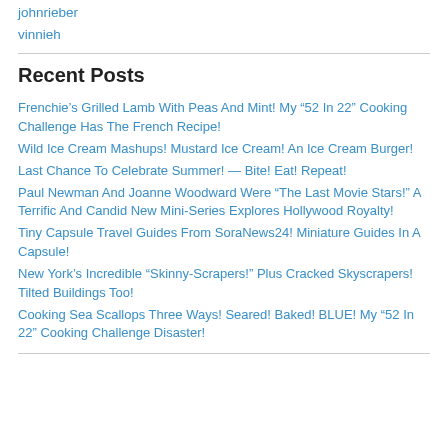johnrieber
vinnieh
Recent Posts
Frenchie's Grilled Lamb With Peas And Mint! My “52 In 22” Cooking Challenge Has The French Recipe!
Wild Ice Cream Mashups! Mustard Ice Cream! An Ice Cream Burger!
Last Chance To Celebrate Summer! — Bite! Eat! Repeat!
Paul Newman And Joanne Woodward Were “The Last Movie Stars!” A Terrific And Candid New Mini-Series Explores Hollywood Royalty!
Tiny Capsule Travel Guides From SoraNews24! Miniature Guides In A Capsule!
New York’s Incredible “Skinny-Scrapers!” Plus Cracked Skyscrapers! Tilted Buildings Too!
Cooking Sea Scallops Three Ways! Seared! Baked! BLUE! My “52 In 22” Cooking Challenge Disaster!